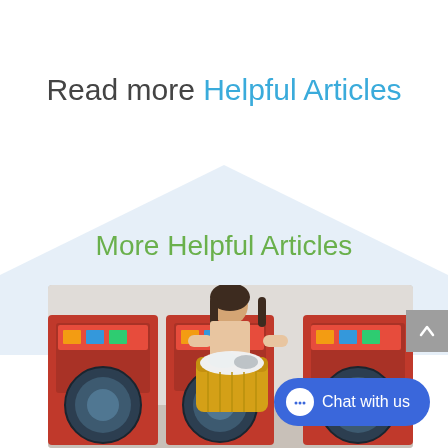Read more Helpful Articles
More Helpful Articles
[Figure (photo): Young woman holding a laundry basket filled with clothes, standing in a laundromat with red washing machines in the background]
[Figure (other): Chat with us button (blue pill-shaped button with chat icon and text 'Chat with us')]